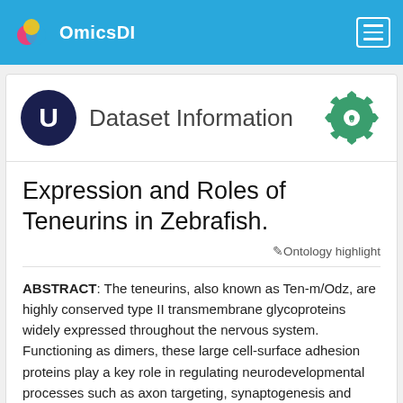OmicsDI
Dataset Information
Expression and Roles of Teneurins in Zebrafish.
Ontology highlight
ABSTRACT: The teneurins, also known as Ten-m/Odz, are highly conserved type II transmembrane glycoproteins widely expressed throughout the nervous system. Functioning as dimers, these large cell-surface adhesion proteins play a key role in regulating neurodevelopmental processes such as axon targeting, synaptogenesis and neuronal wiring. Synaptic